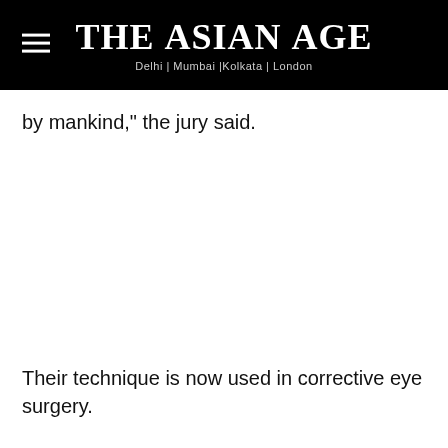The Asian Age — Delhi | Mumbai |Kolkata | London
by mankind," the jury said.
Their technique is now used in corrective eye surgery.